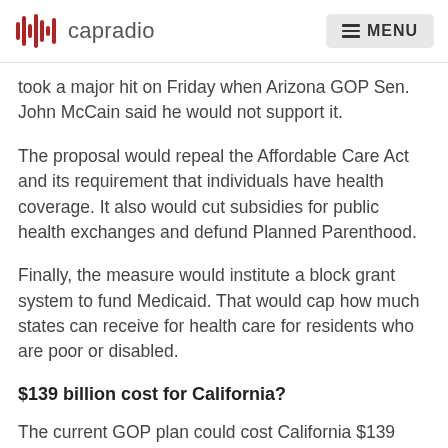capradio | MENU
took a major hit on Friday when Arizona GOP Sen. John McCain said he would not support it.
The proposal would repeal the Affordable Care Act and its requirement that individuals have health coverage. It also would cut subsidies for public health exchanges and defund Planned Parenthood.
Finally, the measure would institute a block grant system to fund Medicaid. That would cap how much states can receive for health care for residents who are poor or disabled.
$139 billion cost for California?
The current GOP plan could cost California $139 billion in federal funding by 2027, according to an